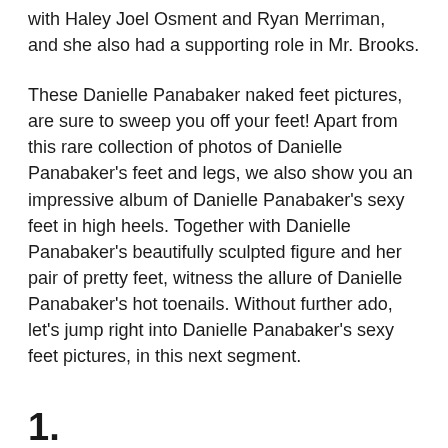with Haley Joel Osment and Ryan Merriman, and she also had a supporting role in Mr. Brooks.
These Danielle Panabaker naked feet pictures, are sure to sweep you off your feet! Apart from this rare collection of photos of Danielle Panabaker's feet and legs, we also show you an impressive album of Danielle Panabaker's sexy feet in high heels. Together with Danielle Panabaker's beautifully sculpted figure and her pair of pretty feet, witness the allure of Danielle Panabaker's hot toenails. Without further ado, let's jump right into Danielle Panabaker's sexy feet pictures, in this next segment.
1.